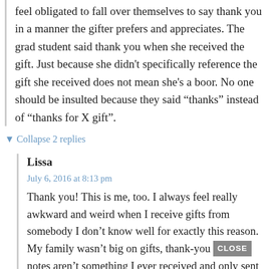feel obligated to fall over themselves to say thank you in a manner the gifter prefers and appreciates. The grad student said thank you when she received the gift. Just because she didn't specifically reference the gift she received does not mean she's a boor. No one should be insulted because they said “thanks” instead of “thanks for X gift”.
▼ Collapse 2 replies
Lissa
July 6, 2016 at 8:13 pm
Thank you! This is me, too. I always feel really awkward and weird when I receive gifts from somebody I don’t know well for exactly this reason. My family wasn’t big on gifts, thank-you notes aren’t something I ever received and only sent to my grandmother as a child, etc etc... For instance my